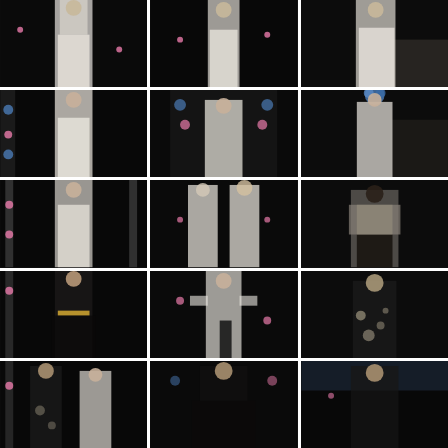[Figure (photo): Fashion runway photo grid showing 15 fashion show photos arranged in 5 rows of 3. Photos show models wearing bridal and evening wear including white lace gowns, black sheer dresses, fur stoles, and dark floral outfits on a runway with floral backdrop decorations.]